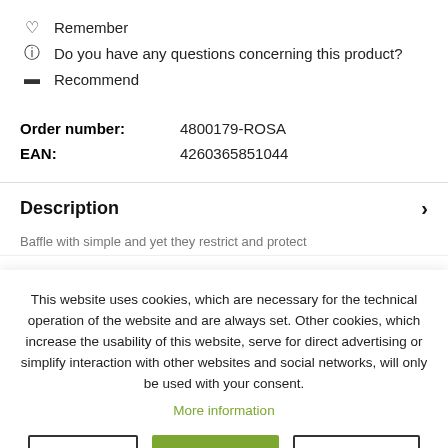Remember
Do you have any questions concerning this product?
Recommend
Order number: 4800179-ROSA
EAN: 4260365851044
Description
This website uses cookies, which are necessary for the technical operation of the website and are always set. Other cookies, which increase the usability of this website, serve for direct advertising or simplify interaction with other websites and social networks, will only be used with your consent.
More information
Decline | Accept all | Configure